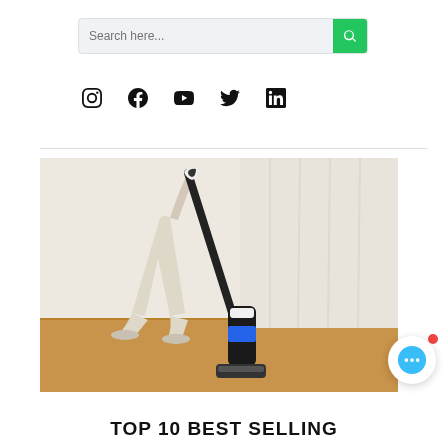[Figure (screenshot): Search bar with placeholder text 'Search here...' and a green search button with magnifying glass icon]
[Figure (infographic): Social media icons row: Instagram, Facebook, YouTube, Twitter, LinkedIn]
[Figure (photo): Person using a black and white upright wet/dry vacuum cleaner on hardwood floor, wearing cream-colored pants and flats]
TOP 10 BEST SELLING